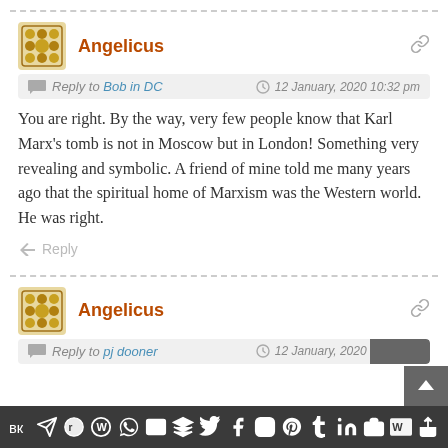Angelicus
Reply to Bob in DC — 12 January, 2020 10:32 pm
You are right. By the way, very few people know that Karl Marx’s tomb is not in Moscow but in London! Something very revealing and symbolic. A friend of mine told me many years ago that the spiritual home of Marxism was the Western world. He was right.
Reply
Angelicus
Reply to pj dooner — 12 January, 2020 10:49 pm